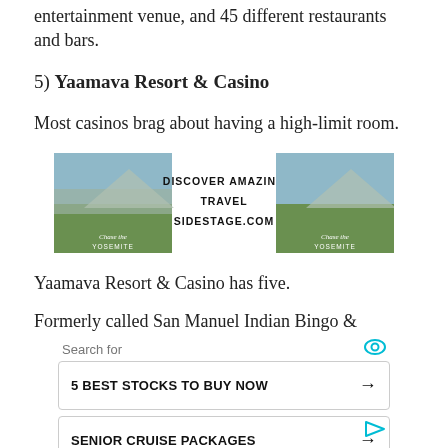entertainment venue, and 45 different restaurants and bars.
5) Yaamava Resort & Casino
Most casinos brag about having a high-limit room.
[Figure (infographic): Advertisement banner for sidestage.com travel site, showing two Yosemite landscape photos flanking centered text: DISCOVER AMAZING TRAVEL SIDESTAGE.COM]
Yaamava Resort & Casino has five.
Formerly called San Manuel Indian Bingo &
[Figure (infographic): Search widget ad with 'Search for' header and eye icon, showing two search items: '5 BEST STOCKS TO BUY NOW' and 'SENIOR CRUISE PACKAGES', each with an arrow button]